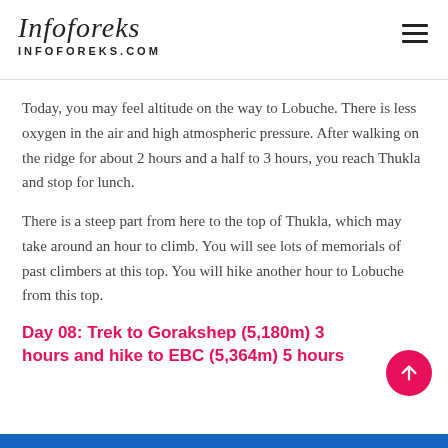Infoforeks INFOFOREKS.COM
Today, you may feel altitude on the way to Lobuche. There is less oxygen in the air and high atmospheric pressure. After walking on the ridge for about 2 hours and a half to 3 hours, you reach Thukla and stop for lunch.
There is a steep part from here to the top of Thukla, which may take around an hour to climb. You will see lots of memorials of past climbers at this top. You will hike another hour to Lobuche from this top.
Day 08: Trek to Gorakshep (5,180m) 3 hours and hike to EBC (5,364m) 5 hours